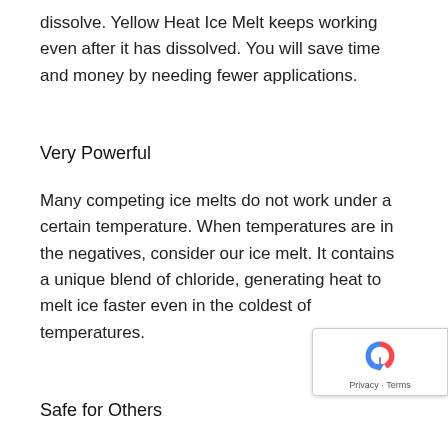dissolve. Yellow Heat Ice Melt keeps working even after it has dissolved. You will save time and money by needing fewer applications.
Very Powerful
Many competing ice melts do not work under a certain temperature. When temperatures are in the negatives, consider our ice melt. It contains a unique blend of chloride, generating heat to melt ice faster even in the coldest of temperatures.
Safe for Others
Sometimes there is the concern that the ice melt purchase is not safe for the environment or pets. [cut off]